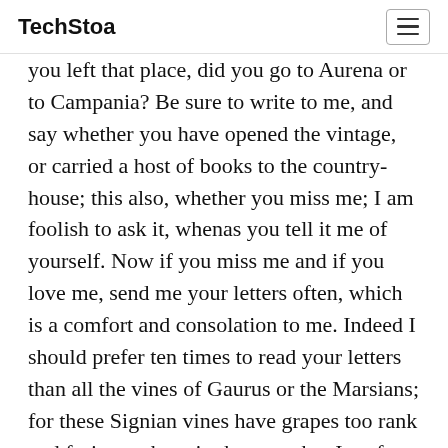TechStoa
you left that place, did you go to Aurena or to Campania? Be sure to write to me, and say whether you have opened the vintage, or carried a host of books to the country-house; this also, whether you miss me; I am foolish to ask it, whenas you tell it me of yourself. Now if you miss me and if you love me, send me your letters often, which is a comfort and consolation to me. Indeed I should prefer ten times to read your letters than all the vines of Gaurus or the Marsians; for these Signian vines have grapes too rank and fruit too sharp in the taste, but I prefer wine to must for drinking. Besides, those grapes are nicer to eat dried than fresh-ripe; I vow I would rather tread them